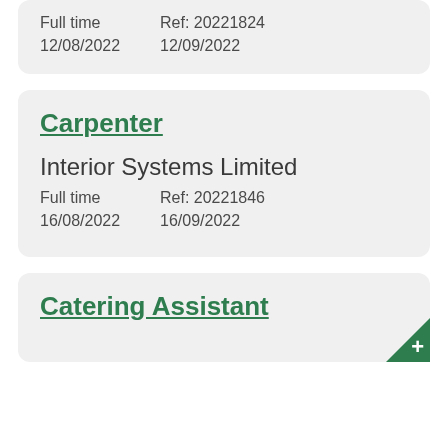Full time    Ref: 20221824
12/08/2022    12/09/2022
Carpenter
Interior Systems Limited
Full time    Ref: 20221846
16/08/2022    16/09/2022
Catering Assistant